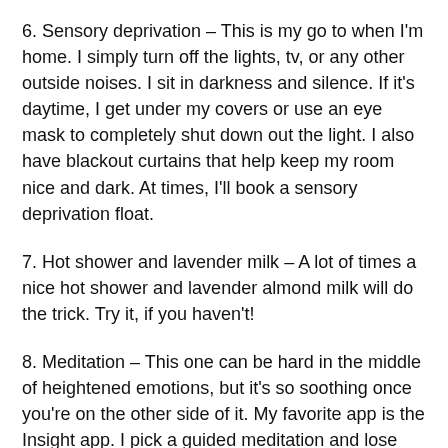6. Sensory deprivation – This is my go to when I'm home. I simply turn off the lights, tv, or any other outside noises. I sit in darkness and silence. If it's daytime, I get under my covers or use an eye mask to completely shut down out the light. I also have blackout curtains that help keep my room nice and dark. At times, I'll book a sensory deprivation float.
7. Hot shower and lavender milk – A lot of times a nice hot shower and lavender almond milk will do the trick. Try it, if you haven't!
8. Meditation – This one can be hard in the middle of heightened emotions, but it's so soothing once you're on the other side of it. My favorite app is the Insight app. I pick a guided meditation and lose myself in it. Long guided meditation work best for me.